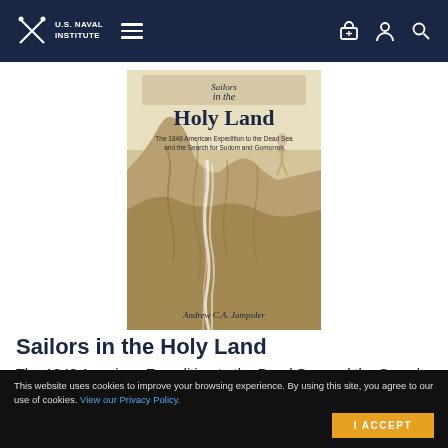U.S. Naval Institute
[Figure (illustration): Book cover of 'Sailors in the Holy Land: The 1848 American Expedition to the Dead Sea and the Search for Sodom and Gomorrah' by Andrew C.A. Jampoler. Features a watercolor image of rocky desert cliffs with stylized blue text title on the cover.]
Sailors in the Holy Land
The 1848 American Expedition to the Dead Sea and the Search for Sodom and
This website uses cookies to improve your browsing experience. By using this site, you agree to our use of cookies. View our Privacy Policy.